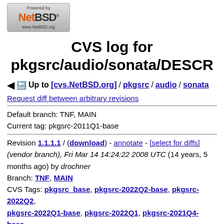[Figure (logo): NetBSD logo: 'Powered by NetBSD www.NetBSD.org' badge with orange NetBSD text]
CVS log for pkgsrc/audio/sonata/DESCR
Up to [cvs.NetBSD.org] / pkgsrc / audio / sonata
Request diff between arbitrary revisions
Default branch: TNF, MAIN
Current tag: pkgsrc-2011Q1-base
Revision 1.1.1.1 / (download) - annotate - [select for diffs] (vendor branch), Fri Mar 14 14:24:22 2008 UTC (14 years, 5 months ago) by drochner
Branch: TNF, MAIN
CVS Tags: pkgsrc_base, pkgsrc-2022Q2-base, pkgsrc-2022Q2, pkgsrc-2022Q1-base, pkgsrc-2022Q1, pkgsrc-2021Q4-base,